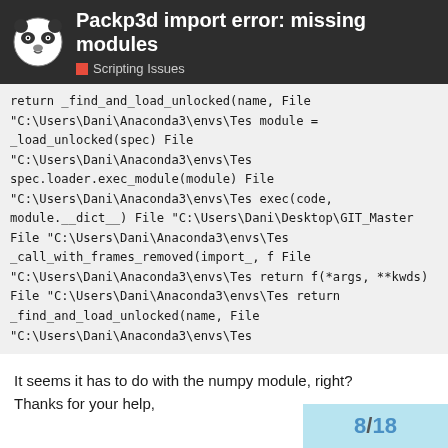Packp3d import error: missing modules
Scripting Issues
return _find_and_load_unlocked(name,
  File "C:\Users\Dani\Anaconda3\envs\Tes
    module = _load_unlocked(spec)
  File "C:\Users\Dani\Anaconda3\envs\Tes
    spec.loader.exec_module(module)
  File "C:\Users\Dani\Anaconda3\envs\Tes
    exec(code, module.__dict__)
  File "C:\Users\Dani\Desktop\GIT_Master
  File "C:\Users\Dani\Anaconda3\envs\Tes
    _call_with_frames_removed(import_, f
  File "C:\Users\Dani\Anaconda3\envs\Tes
    return f(*args, **kwds)
  File "C:\Users\Dani\Anaconda3\envs\Tes
    return _find_and_load_unlocked(name,
  File "C:\Users\Dani\Anaconda3\envs\Tes
It seems it has to do with the numpy module, right? Thanks for your help,
8 / 18